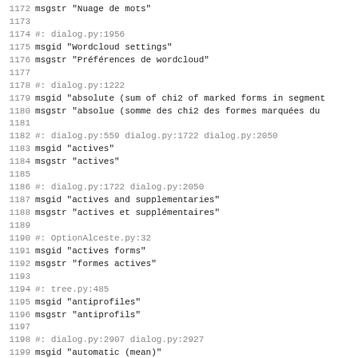1172 msgstr "Nuage de mots"
1173
1174 #: dialog.py:1956
1175 msgid "Wordcloud settings"
1176 msgstr "Préférences de wordcloud"
1177
1178 #: dialog.py:1222
1179 msgid "absolute (sum of chi2 of marked forms in segment
1180 msgstr "absolue (somme des chi2 des formes marquées du
1181
1182 #: dialog.py:559 dialog.py:1722 dialog.py:2050
1183 msgid "actives"
1184 msgstr "actives"
1185
1186 #: dialog.py:1722 dialog.py:2050
1187 msgid "actives and supplementaries"
1188 msgstr "actives et supplémentaires"
1189
1190 #: OptionAlceste.py:32
1191 msgid "actives forms"
1192 msgstr "formes actives"
1193
1194 #: tree.py:485
1195 msgid "antiprofiles"
1196 msgstr "antiprofils"
1197
1198 #: dialog.py:2907 dialog.py:2927
1199 msgid "automatic (mean)"
1200 msgstr "automatique (moyenne)"
1201
1202 #: dialog.py:1911
1203 msgid "bar"